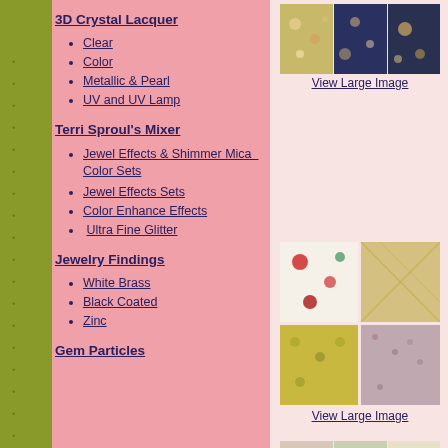3D Crystal Lacquer
Clear
Color
Metallic & Pearl
UV and UV Lamp
[Figure (photo): Three decorative floral patterned fabric/paper swatches in dark and colorful tones]
View Large Image
Terri Sproul's Mixer
Jewel Effects & Shimmer Mica  Color Sets
Jewel Effects Sets
Color Enhance Effects
Ultra Fine Glitter
[Figure (photo): Six decorative Japanese-style patterned fabric/paper swatches in red, green, yellow, and purple tones]
View Large Image
Jewelry Findings
White Brass
Black Coated
Zinc
Gem Particles
[Figure (photo): Three decorative floral patterned fabric/paper swatches in light and pastel tones]